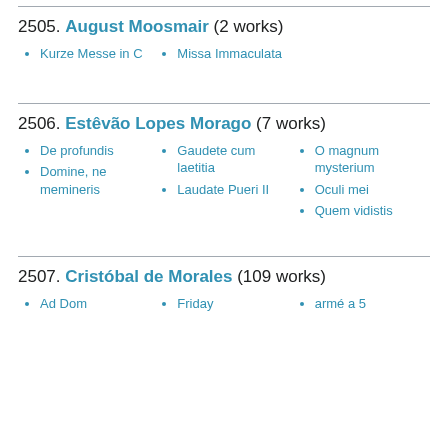2505. August Moosmair (2 works)
Kurze Messe in C
Missa Immaculata
2506. Estêvão Lopes Morago (7 works)
De profundis
Domine, ne memineris
Gaudete cum laetitia
Laudate Pueri II
O magnum mysterium
Oculi mei
Quem vidistis
2507. Cristóbal de Morales (109 works)
Ad Dominum
Friday
armé a 5